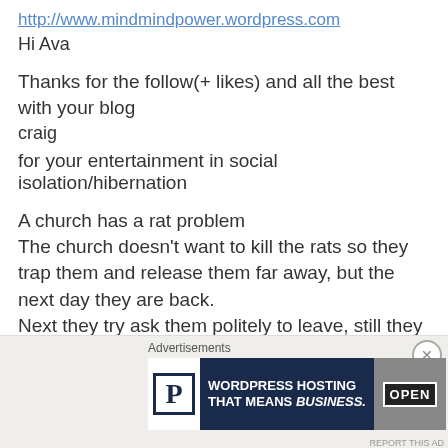http://www.mindmindpower.wordpress.com
Hi Ava
Thanks for the follow(+ likes) and all the best with your blog
craig
for your entertainment in social isolation/hibernation
A church has a rat problem
The church doesn't want to kill the rats so they trap them and release them far away, but the next day they are back.
Next they try ask them politely to leave, still they won't budge.
Advertisements
[Figure (other): WordPress hosting advertisement banner with text WORDPRESS HOSTING THAT MEANS BUSINESS. and an OPEN sign image]